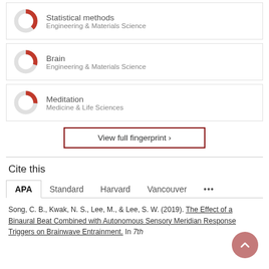[Figure (donut-chart): Partial donut chart icon for Statistical methods - Engineering & Materials Science]
Statistical methods
Engineering & Materials Science
[Figure (donut-chart): Partial donut chart icon for Brain - Engineering & Materials Science]
Brain
Engineering & Materials Science
[Figure (donut-chart): Partial donut chart icon for Meditation - Medicine & Life Sciences]
Meditation
Medicine & Life Sciences
View full fingerprint ›
Cite this
APA   Standard   Harvard   Vancouver   •••
Song, C. B., Kwak, N. S., Lee, M., & Lee, S. W. (2019). The Effect of a Binaural Beat Combined with Autonomous Sensory Meridian Response Triggers on Brainwave Entrainment. In 7th